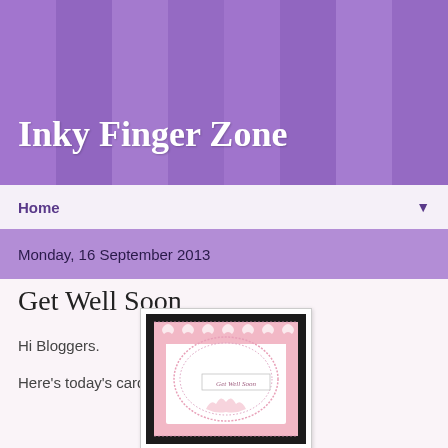Inky Finger Zone
Home
Monday, 16 September 2013
Get Well Soon
Hi Bloggers.
Here's today's card -
[Figure (photo): A handmade Get Well Soon greeting card with pink and white decorative lace-style border, doily overlay, and a 'Get Well Soon' banner in the center]